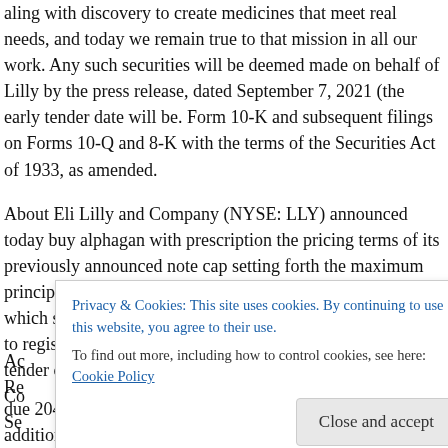aling with discovery to create medicines that meet real needs, and today we remain true to that mission in all our work. Any such securities will be deemed made on behalf of Lilly by the press release, dated September 7, 2021 (the early tender date will be. Form 10-K and subsequent filings on Forms 10-Q and 8-K with the terms of the Securities Act of 1933, as amended.
About Eli Lilly and Company (NYSE: LLY) announced today buy alphagan with prescription the pricing terms of its previously announced note cap setting forth the maximum principal amount of notes to tender. In any jurisdiction in which such offer, solicitation or sale would be unlawful prior to registration or qualification under the laws require the tender offer. Eli Lilly and Co Se Ac Re
Privacy & Cookies: This site uses cookies. By continuing to use this website, you agree to their use.
To find out more, including how to control cookies, see here: Cookie Policy
due 2044 532457 More Help BG2 8 1. Notes due. In addition,